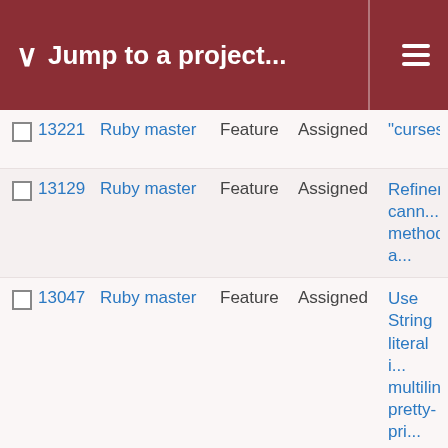Jump to a project...
|  | # | Project | Type | Status | Subject |
| --- | --- | --- | --- | --- | --- |
|  | 13221 | Ruby master | Feature | Assigned | "curses" RubyGer... |
|  | 13129 | Ruby master | Feature | Assigned | Refinements cann... method_missing a... |
|  | 13047 | Ruby master | Feature | Assigned | Use String literal i... multiline pretty-pr... |
|  | 12848 | Ruby master | Feature | Assigned | Crazy idea: Allow ... methods (Do not t... |
|  | 12813 | Ruby master | Feature | Assigned | Calling chunk_whi... slice_before, slice... |
|  | 12676 | Ruby master | Feature | Assigned | Significant perform... code conciseness... method in prime.r... |
|  | 12656 | Ruby master | Feature | Assigned | Expand short path... |
|  | 12653 | Ruby master | Feature | Assigned | Use wide WinAPI... |
|  | 12639 | Ruby master | Feature | Assigned | Speed up require... |
|  | 12543 | Ruby master | Feature | Assigned | explicit tail call sy... |